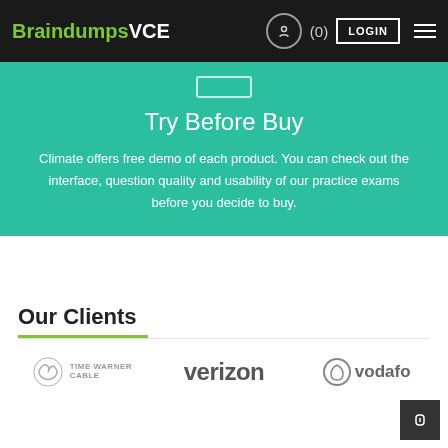BraindumpsVCE  (0)  LOGIN
Try Before Buy
Climate offers free demo of each product. You can check out the interface, question quality and usability of our practice exams before you decide to buy.
Our Clients
[Figure (logo): Time Warner Cable logo, Verizon logo, Vodafone logo - client logos displayed in a row]